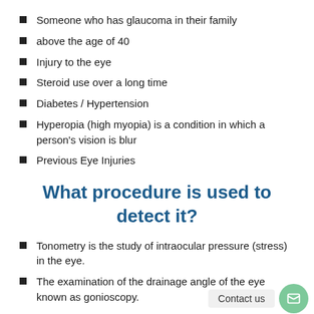Someone who has glaucoma in their family
above the age of 40
Injury to the eye
Steroid use over a long time
Diabetes / Hypertension
Hyperopia (high myopia) is a condition in which a person's vision is blur
Previous Eye Injuries
What procedure is used to detect it?
Tonometry is the study of intraocular pressure (stress) in the eye.
The examination of the drainage angle of the eye known as gonioscopy.